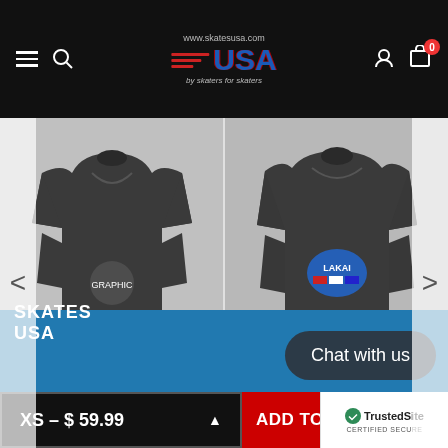www.skatesusa.com — Skates USA by skaters for skaters
[Figure (photo): Dickies Franky Villani Drunkula P... hoodie product photo, dark grey, person wearing hoodie front view with graphic]
Dickies Franky Villani Drunkula P...
$ 59.99
[Figure (photo): Lakai Sweatshirts Motorworks Pu... hoodie product photo, dark grey, back view showing Lakai logo]
Lakai Sweatshirts Motorworks Pu...
$ 65.00
RECENTLY VIEWED PRODUCTS
Chat with us
XS – $ 59.99   ADD TO C...   TrustedSite CERTIFIED SECURE